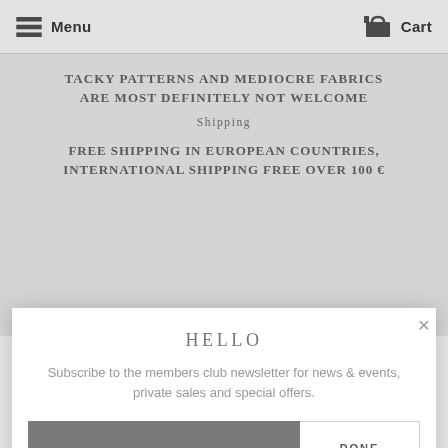Menu   Cart
TACKY PATTERNS AND MEDIOCRE FABRICS ARE MOST DEFINITELY NOT WELCOME
Shipping
FREE SHIPPING IN EUROPEAN COUNTRIES, INTERNATIONAL SHIPPING FREE OVER 100 €
HELLO
Subscribe to the members club newsletter for news & events, private sales and special offers.
DONE
Utilizziamo i cookie per assicurarti la migliore esperienza nel nostro sito. Questo sito utilizza i cookie, anche di terze parti, per inviarti messaggi promozionali personalizzati. Per saperne di più, conoscere i cookie utilizzati dal sito ed eventualmente disabilitarli, accedi alla Cookie Policy. Se prosegui nella navigazione di questo sito acconsenti all'utilizzo dei cookie.
CLOSE